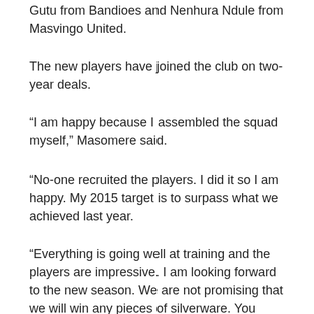Gutu from Bandioes and Nenhura Ndule from Masvingo United.
The new players have joined the club on two-year deals.
“I am happy because I assembled the squad myself,” Masomere said.
“No-one recruited the players. I did it so I am happy. My 2015 target is to surpass what we achieved last year.
“Everything is going well at training and the players are impressive. I am looking forward to the new season. We are not promising that we will win any pieces of silverware. You can’t say you are beefing up a team when you are bringing in eight players, it is a completely new team.”
However, conspicuous by his absence at Monday’s training